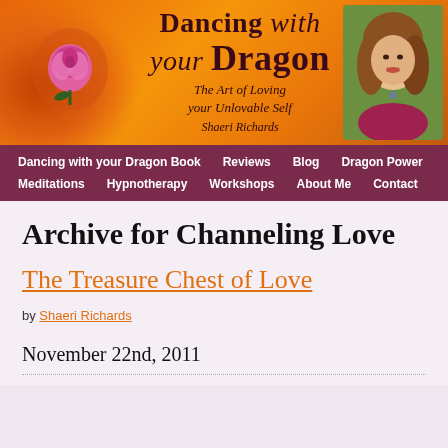[Figure (illustration): Website banner for 'Dancing with your Dragon – The Art of Loving your Unlovable Self' by Shaeri Richards. Orange flame background with a pink rose on the left and a photo of Shaeri Richards on the right.]
Dancing with your Dragon Book | Reviews | Blog | Dragon Power | Meditations | Hypnotherapy | Workshops | About Me | Contact
Archive for Channeling Love
The Treasure Chest of Love
by Shaeri Richards
November 22nd, 2011